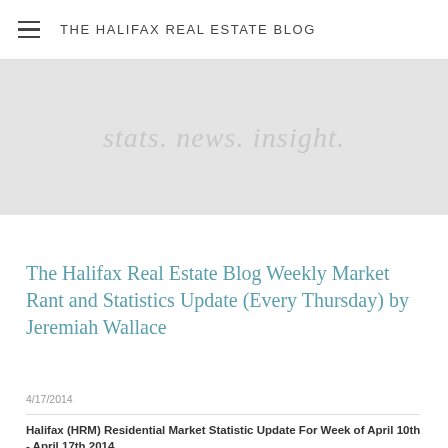THE HALIFAX REAL ESTATE BLOG
[Figure (illustration): Light grey hero banner with italic tagline text: stats. news. insight.]
The Halifax Real Estate Blog Weekly Market Rant and Statistics Update (Every Thursday) by Jeremiah Wallace
4/17/2014
Halifax (HRM) Residential Market Statistic Update For Week of April 10th - April 17th 2014